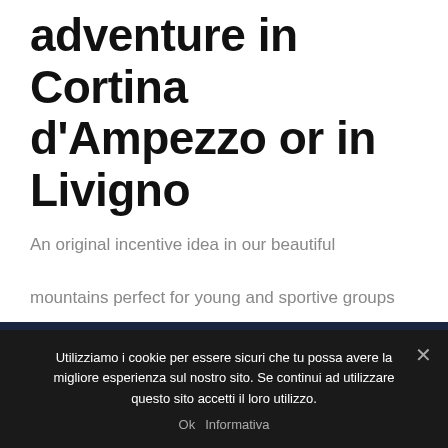adventure in Cortina d'Ampezzo or in Livigno
An original incentive idea in our beautiful mountains perfect for young and sportive groups
Utilizziamo i cookie per essere sicuri che tu possa avere la migliore esperienza sul nostro sito. Se continui ad utilizzare questo sito accetti il loro utilizzo.
Ok  Informativa